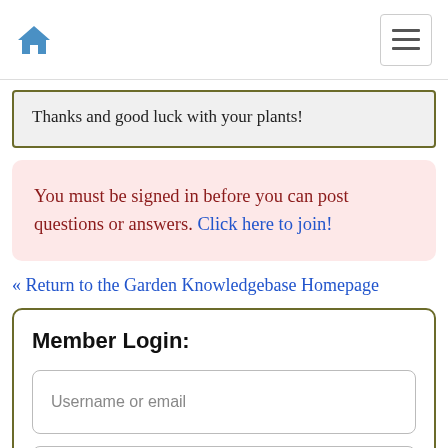Home navigation bar with home icon and hamburger menu
Thanks and good luck with your plants!
You must be signed in before you can post questions or answers. Click here to join!
« Return to the Garden Knowledgebase Homepage
Member Login:
Username or email
Password